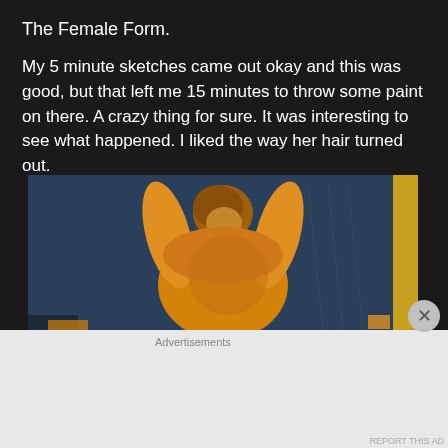The Female Form.
My 5 minute sketches came out okay and this was good, but that left me 15 minutes to throw some paint on there. A crazy thing for sure. It was interesting to see what happened. I liked the way her hair turned out.
[Figure (photo): A painting of a female figure, viewed from behind with arms raised, painted in orange/yellow tones against a dark blue-grey background.]
Advertisements
[Figure (screenshot): DuckDuckGo advertisement banner: 'Search, browse, and email with more privacy. All in One Free App' with DuckDuckGo logo on dark right panel.]